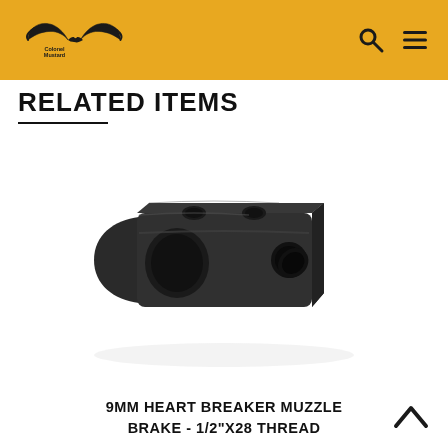Colonel Mustard logo, search icon, menu icon
RELATED ITEMS
[Figure (photo): Black muzzle brake product photo - 9MM Heart Breaker Muzzle Brake with multiple ports, shot at an angle on white background]
9MM HEART BREAKER MUZZLE BRAKE - 1/2"x28 THREAD